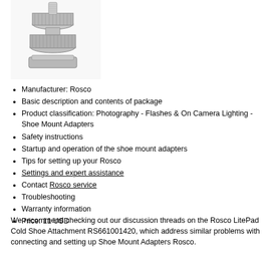[Figure (photo): Close-up photo of a metallic shoe mount adapter with knurled thumb screw and square base plate, silver/chrome finish.]
Manufacturer: Rosco
Basic description and contents of package
Product classification: Photography - Flashes & On Camera Lighting - Shoe Mount Adapters
Safety instructions
Startup and operation of the shoe mount adapters
Tips for setting up your Rosco
Settings and expert assistance
Contact Rosco service
Troubleshooting
Warranty information
Price: 11 USD
We recommend checking out our discussion threads on the Rosco LitePad Cold Shoe Attachment RS661001420, which address similar problems with connecting and setting up Shoe Mount Adapters Rosco.